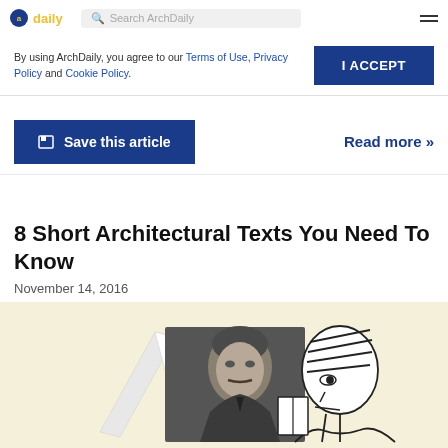ArchDaily — Search ArchDaily
By using ArchDaily, you agree to our Terms of Use, Privacy Policy and Cookie Policy.
I ACCEPT
Save this article
Read more »
8 Short Architectural Texts You Need To Know
November 14, 2016
[Figure (illustration): Illustration on cream/beige background showing a vintage black-and-white photo of a man reading a book, overlaid with a line-drawn cartoon figure of a person with striped hair also reading.]